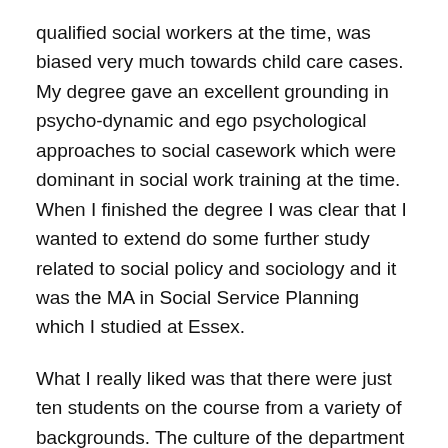qualified social workers at the time, was biased very much towards child care cases. My degree gave an excellent grounding in psycho-dynamic and ego psychological approaches to social casework which were dominant in social work training at the time. When I finished the degree I was clear that I wanted to extend do some further study related to social policy and sociology and it was the MA in Social Service Planning which I studied at Essex.
What I really liked was that there were just ten students on the course from a variety of backgrounds. The culture of the department was very different to what I was used to and the focus of the MA was, in effect, the sociology of social policy. Every week we had small group seminars with some great staff – unfortunately many of whom are no longer with us; Peter Townsend, Dennis Marsden, Adrian Sinfield, Stan Cohen, Mary McIntosh, Ronson Collins and